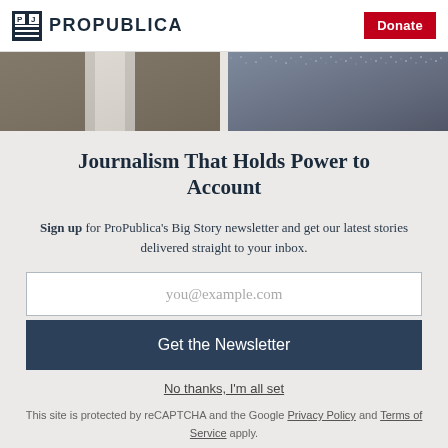ProPublica | Donate
[Figure (photo): Two aerial photos side by side: left shows a wide avenue/mall with sparse crowd, right shows a densely packed crowd.]
Journalism That Holds Power to Account
Sign up for ProPublica's Big Story newsletter and get our latest stories delivered straight to your inbox.
you@example.com
Get the Newsletter
No thanks, I'm all set
This site is protected by reCAPTCHA and the Google Privacy Policy and Terms of Service apply.